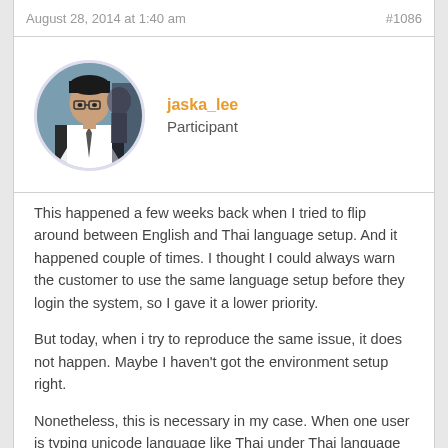August 28, 2014 at 1:40 am    #1086
[Figure (photo): Circular avatar photo of user jaska_lee showing a man in a white shirt with a tie]
jaska_lee
Participant
This happened a few weeks back when I tried to flip around between English and Thai language setup. And it happened couple of times. I thought I could always warn the customer to use the same language setup before they login the system, so I gave it a lower priority.
But today, when i try to reproduce the same issue, it does not happen. Maybe I haven't got the environment setup right.
Nonetheless, this is necessary in my case. When one user is typing unicode language like Thai under Thai language setup, he can type and see Thai characters nicely. But if